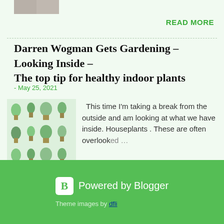[Figure (photo): Partial crop of a person or image at top left]
READ MORE
Darren Wogman Gets Gardening - Looking Inside - The top tip for healthy indoor plants
- May 25, 2021
[Figure (illustration): Grid of various houseplants in pots]
This time I'm taking a break from the outside and am looking at what we have inside. Houseplants . These are often overlooked …
READ MORE
Powered by Blogger
Theme images by dfli